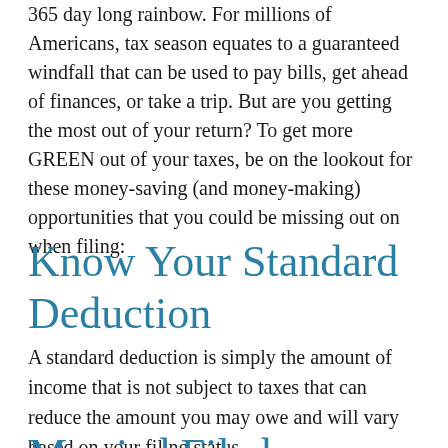365 day long rainbow. For millions of Americans, tax season equates to a guaranteed windfall that can be used to pay bills, get ahead of finances, or take a trip. But are you getting the most out of your return? To get more GREEN out of your taxes, be on the lookout for these money-saving (and money-making) opportunities that you could be missing out on when filing:
Know Your Standard Deduction
A standard deduction is simply the amount of income that is not subject to taxes that can reduce the amount you may owe and will vary based on your filing status.
Married Filed Jointly...